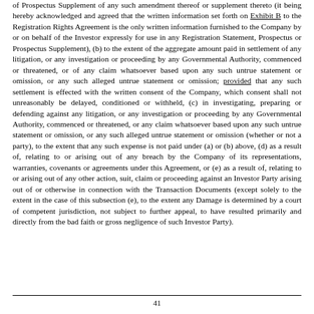of Prospectus Supplement of any such amendment thereof or supplement thereto (it being hereby acknowledged and agreed that the written information set forth on Exhibit B to the Registration Rights Agreement is the only written information furnished to the Company by or on behalf of the Investor expressly for use in any Registration Statement, Prospectus or Prospectus Supplement), (b) to the extent of the aggregate amount paid in settlement of any litigation, or any investigation or proceeding by any Governmental Authority, commenced or threatened, or of any claim whatsoever based upon any such untrue statement or omission, or any such alleged untrue statement or omission; provided that any such settlement is effected with the written consent of the Company, which consent shall not unreasonably be delayed, conditioned or withheld, (c) in investigating, preparing or defending against any litigation, or any investigation or proceeding by any Governmental Authority, commenced or threatened, or any claim whatsoever based upon any such untrue statement or omission, or any such alleged untrue statement or omission (whether or not a party), to the extent that any such expense is not paid under (a) or (b) above, (d) as a result of, relating to or arising out of any breach by the Company of its representations, warranties, covenants or agreements under this Agreement, or (e) as a result of, relating to or arising out of any other action, suit, claim or proceeding against an Investor Party arising out of or otherwise in connection with the Transaction Documents (except solely to the extent in the case of this subsection (e), to the extent any Damage is determined by a court of competent jurisdiction, not subject to further appeal, to have resulted primarily and directly from the bad faith or gross negligence of such Investor Party).
41